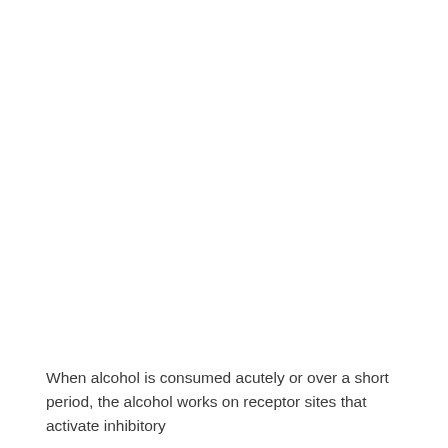When alcohol is consumed acutely or over a short period, the alcohol works on receptor sites that activate inhibitory